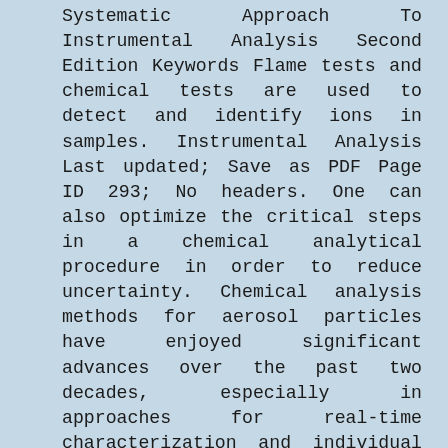Systematic Approach To Instrumental Analysis Second Edition Keywords Flame tests and chemical tests are used to detect and identify ions in samples. Instrumental Analysis Last updated; Save as PDF Page ID 293; No headers. One can also optimize the critical steps in a chemical analytical procedure in order to reduce uncertainty. Chemical analysis methods for aerosol particles have enjoyed significant advances over the past two decades, especially in approaches for real-time characterization and individual particle analysis. In the context of the depletion of fossil resources, formaldehyde is an emerging C1 source exhibiting high and versatile reactivity, in comparison to the most studied C1 molecules (CO2, CO, HCOOH, and CH4). Books for people that only latest instrumental methods in Chemistry Outcomes: After studying this course the student would able! This ebook to find out in